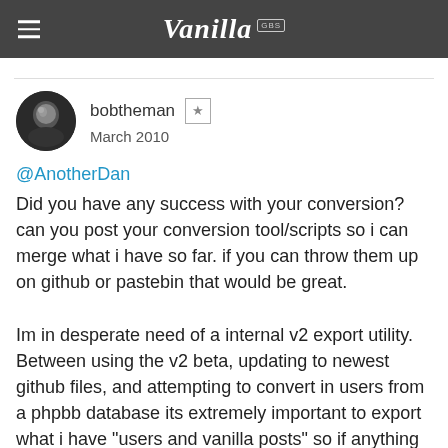Vanilla GBS
bobtheman  March 2010
@AnotherDan Did you have any success with your conversion? can you post your conversion tool/scripts so i can merge what i have so far. if you can throw them up on github or pastebin that would be great.

Im in desperate need of a internal v2 export utility. Between using the v2 beta, updating to newest github files, and attempting to convert in users from a phpbb database its extremely important to export what i have "users and vanilla posts" so if anything goes wrong i can do a fresh install and import the backup.